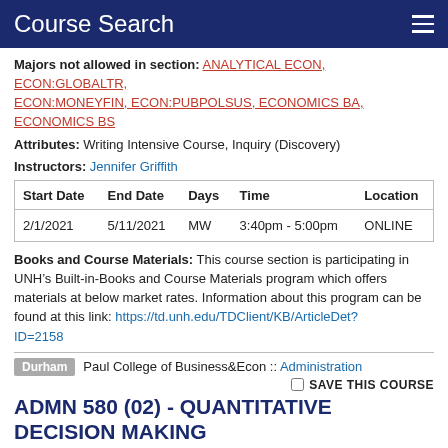Course Search
Majors not allowed in section: ANALYTICAL ECON, ECON:GLOBALTR, ECON:MONEYFIN, ECON:PUBPOLSUS, ECONOMICS BA, ECONOMICS BS
Attributes: Writing Intensive Course, Inquiry (Discovery)
Instructors: Jennifer Griffith
| Start Date | End Date | Days | Time | Location |
| --- | --- | --- | --- | --- |
| 2/1/2021 | 5/11/2021 | MW | 3:40pm - 5:00pm | ONLINE |
Books and Course Materials: This course section is participating in UNH’s Built-in-Books and Course Materials program which offers materials at below market rates. Information about this program can be found at this link: https://td.unh.edu/TDClient/KB/ArticleDet?ID=2158
Durham  Paul College of Business&Econ :: Administration
SAVE THIS COURSE
ADMN 580 (02) - QUANTITATIVE DECISION MAKING